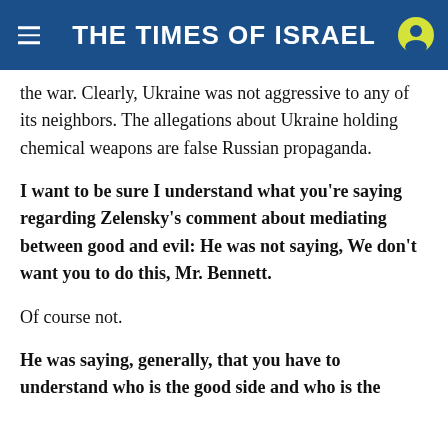THE TIMES OF ISRAEL
the war. Clearly, Ukraine was not aggressive to any of its neighbors. The allegations about Ukraine holding chemical weapons are false Russian propaganda.
I want to be sure I understand what you're saying regarding Zelensky's comment about mediating between good and evil: He was not saying, We don't want you to do this, Mr. Bennett.
Of course not.
He was saying, generally, that you have to understand who is the good side and who is the